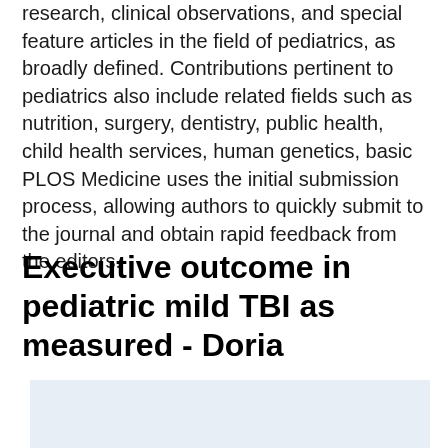research, clinical observations, and special feature articles in the field of pediatrics, as broadly defined. Contributions pertinent to pediatrics also include related fields such as nutrition, surgery, dentistry, public health, child health services, human genetics, basic PLOS Medicine uses the initial submission process, allowing authors to quickly submit to the journal and obtain rapid feedback from the editors.
Executive outcome in pediatric mild TBI as measured - Doria
[Figure (other): Partially visible image or chart at the bottom of the page, light blue-grey background, content cut off.]